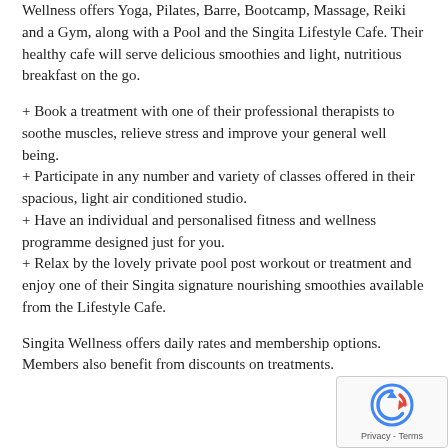Wellness offers Yoga, Pilates, Barre, Bootcamp, Massage, Reiki and a Gym, along with a Pool and the Singita Lifestyle Cafe. Their healthy cafe will serve delicious smoothies and light, nutritious breakfast on the go.
+ Book a treatment with one of their professional therapists to soothe muscles, relieve stress and improve your general well being.
+ Participate in any number and variety of classes offered in their spacious, light air conditioned studio.
+ Have an individual and personalised fitness and wellness programme designed just for you.
+ Relax by the lovely private pool post workout or treatment and enjoy one of their Singita signature nourishing smoothies available from the Lifestyle Cafe.
Singita Wellness offers daily rates and membership options. Members also benefit from discounts on treatments.